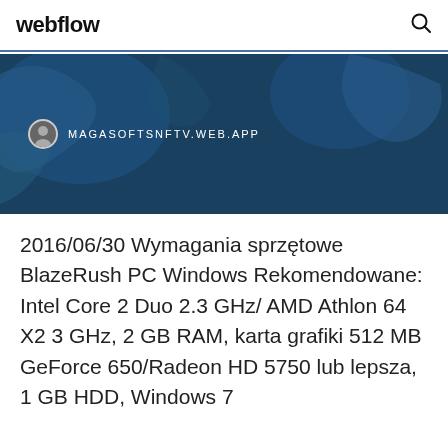webflow
[Figure (map): Dark blue map background with globe-like geography shapes, showing a browser URL label 'MAGASOFTSNFTV.WEB.APP' with a small avatar icon]
2016/06/30 Wymagania sprzętowe BlazeRush PC Windows Rekomendowane: Intel Core 2 Duo 2.3 GHz/ AMD Athlon 64 X2 3 GHz, 2 GB RAM, karta grafiki 512 MB GeForce 650/Radeon HD 5750 lub lepsza, 1 GB HDD, Windows 7